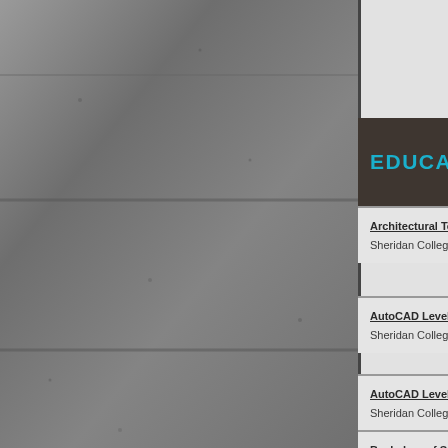[Figure (photo): Concrete wall texture background on left portion of page]
EDUCATION:
Architectural Technology 3 year Co-
Sheridan College, Brampton
AutoCAD Level-2 Autodesk Training
Sheridan College, Brampton
AutoCAD Level-1 Autodesk Training
Sheridan College, Brampton
Bachelors of Science in Architecture